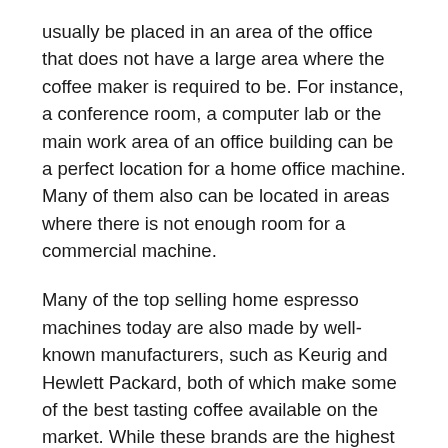usually be placed in an area of the office that does not have a large area where the coffee maker is required to be. For instance, a conference room, a computer lab or the main work area of an office building can be a perfect location for a home office machine. Many of them also can be located in areas where there is not enough room for a commercial machine.
Many of the top selling home espresso machines today are also made by well-known manufacturers, such as Keurig and Hewlett Packard, both of which make some of the best tasting coffee available on the market. While these brands are the highest in quality and come at a great price, they may not be able to meet all of your needs. If you plan to use the machine for your commercial business then you may want to consider an electric model as these units often come with a separate coffee maker that is built into the machine.